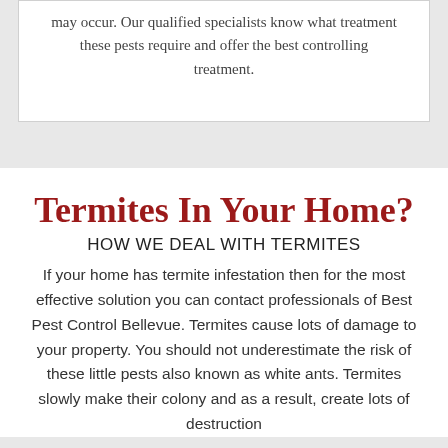may occur. Our qualified specialists know what treatment these pests require and offer the best controlling treatment.
Termites In Your Home?
HOW WE DEAL WITH TERMITES
If your home has termite infestation then for the most effective solution you can contact professionals of Best Pest Control Bellevue. Termites cause lots of damage to your property. You should not underestimate the risk of these little pests also known as white ants. Termites slowly make their colony and as a result, create lots of destruction